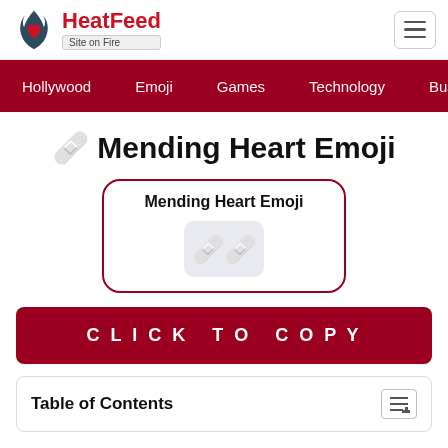[Figure (logo): HeatFeed logo with flame and heart icon, red text 'HeatFeed', tagline 'Site on Fire']
Hollywood   Emoji   Games   Technology   Bus
🩹 Mending Heart Emoji
[Figure (screenshot): Card showing 'Mending Heart Emoji' text with emoji display box showing mending heart emoji characters]
Click to Copy
Table of Contents